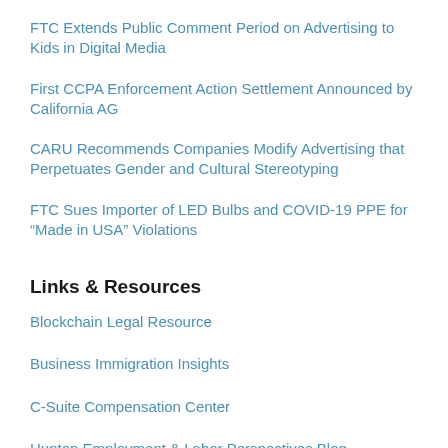FTC Extends Public Comment Period on Advertising to Kids in Digital Media
First CCPA Enforcement Action Settlement Announced by California AG
CARU Recommends Companies Modify Advertising that Perpetuates Gender and Cultural Stereotyping
FTC Sues Importer of LED Bulbs and COVID-19 PPE for “Made in USA” Violations
Links & Resources
Blockchain Legal Resource
Business Immigration Insights
C-Suite Compensation Center
Hunton Employment & Labor Perspectives Blog